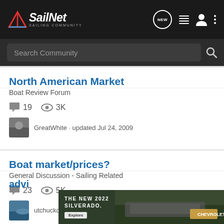SailNet - SAILING COMMUNITY
Search Community
North American Market
Boat Review Forum
19 replies · 3K views · GreatWhite · updated Jul 24, 2009
Boat market/prices?
General Discussion - Sailing Related
23 replies · 5K views · utchuckd · updated Jun 16, 2011
[Figure (screenshot): Chevrolet advertisement banner for The New 2022 Silverado with Explore button and truck image]